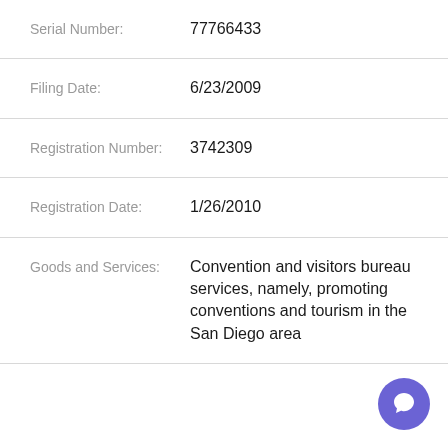| Field | Value |
| --- | --- |
| Serial Number: | 77766433 |
| Filing Date: | 6/23/2009 |
| Registration Number: | 3742309 |
| Registration Date: | 1/26/2010 |
| Goods and Services: | Convention and visitors bureau services, namely, promoting conventions and tourism in the San Diego area |